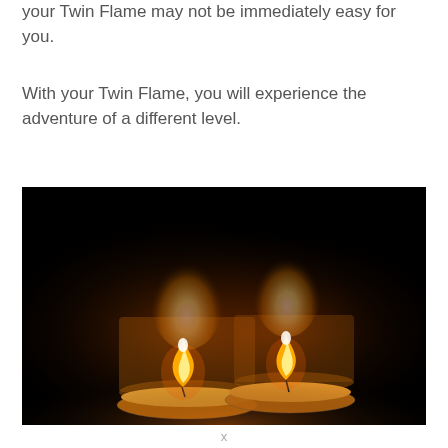your Twin Flame may not be immediately easy for you.
With your Twin Flame, you will experience the adventure of a different level.
[Figure (photo): Two tea light candles with warm orange flames glowing against a dark black background, with two larger candles blurred in the background.]
x